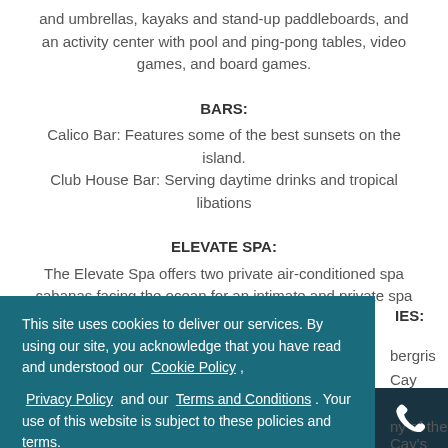and umbrellas, kayaks and stand-up paddleboards, and an activity center with pool and ping-pong tables, video games, and board games.
BARS:
Calico Bar: Features some of the best sunsets on the island.
Club House Bar: Serving daytime drinks and tropical libations
ELEVATE SPA:
The Elevate Spa offers two private air-conditioned spa cabanas facing the ocean for an intimate and private spa experience.
ITIES:
bergris Cay
d villa
tions at any of
ny of the Cay's
This site uses cookies to deliver our services. By using our site, you acknowledge that you have read and understood our Cookie Policy , Privacy Policy and our Terms and Conditions . Your use of this website is subject to these policies and terms.
Got it!